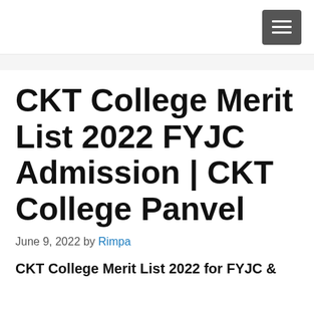≡
CKT College Merit List 2022 FYJC Admission | CKT College Panvel
June 9, 2022 by Rimpa
CKT College Merit List 2022 for FYJC &